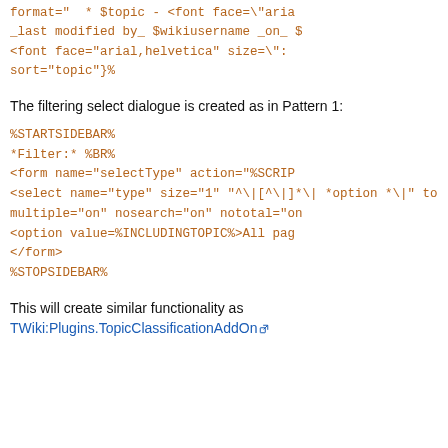format="  * $topic - <font face="aria... _last modified by_ $wikiusername _on_ $... <font face="arial,helvetica" size=":... sort="topic"}%
The filtering select dialogue is created as in Pattern 1:
%STARTSIDEBAR%
*Filter:* %BR%
<form name="selectType" action="%SCRIP...
<select name="type" size="1" onchange=...
%SEARCH{ "^\|[^\|]*\| *option *\|" top:...
multiple="on" nosearch="on" nototal="on...
<option value=%INCLUDINGTOPIC%>All page...
</form>
%STOPSIDEBAR%
This will create similar functionality as TWiki:Plugins.TopicClassificationAddOn